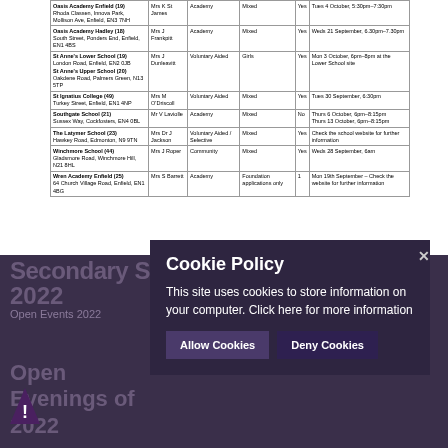| School | Head Teacher | Type | Offers | SEN | Open Evening |
| --- | --- | --- | --- | --- | --- |
| Oasis Academy Enfield (19)
Rhoda Classen, Innova Park, Mollison Ave, Enfield, EN3 7NH | Mrs K St James | Academy | Mixed | Yes | Tues 4 October, 5:30pm–7:30pm |
| Oasis Academy Hadley (18)
South Street, Ponders End, Enfield, EN1 4BS | Mrs J Frankpitt | Academy | Mixed | Yes | Weds 21 September, 6.30pm–7.30pm |
| St Anne's Lower School (19)
London Road, Enfield, EN2 0JB
St Anne's Upper School (20)
Oakdene Road, Palmers Green, N13 5TP | Mrs J Dunleavitt | Voluntary Aided | Girls | Yes | Mon 3 October, 6pm–8pm at the Lower School site |
| St Ignatius College (49)
Turkey Street, Enfield, EN1 4NP | Mrs M O'Driscoll | Voluntary Aided | Mixed | Yes | Tues 30 September, 6:30pm |
| Southgate School (21)
Sussex Way, Cockfosters, EN4 0BL | Mr V Laviolle | Academy | Mixed | No | Thurs 6 October, 6pm–8:15pm
Thurs 13 October, 6pm–8:15pm |
| The Latymer School (23)
Hawkey Road, Edmonton, N9 9TN | Mrs Dr J Jackson | Voluntary Aided / Selective | Mixed | Yes | Check the school website for further information |
| Winchmore School (44)
Gladsmore Road, Winchmore Hill, N21 8HL | Mrs J Roper | Community | Mixed | Yes | Weds 28 September, 6am |
| Wren Academy Enfield (25)
64 Church Village Road, Enfield, EN1 4BG | Mrs S Barrett | Academy | Foundation applications only | 1 | Mon 19th September - Check the website for further information |
*Please visit the school's website for up to date information on opening evenings.
Secondary School Open Evenings 2022
Open Events 2022
Cookie Policy
This site uses cookies to store information on your computer. Click here for more information
Allow Cookies
Deny Cookies